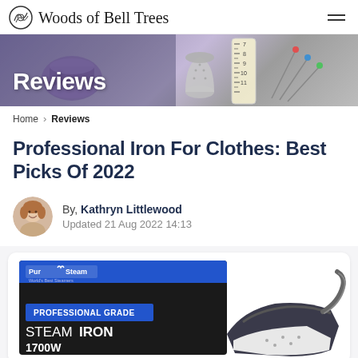Woods of Bell Trees
[Figure (photo): Hero banner with sewing/craft items: purple thread spool, thimble, measuring tape, pins. Bold white text 'Reviews' overlaid.]
Home > Reviews
Professional Iron For Clothes: Best Picks Of 2022
By, Kathryn Littlewood
Updated 21 Aug 2022 14:13
[Figure (photo): PurSteam Professional Grade Steam Iron 1700W product box with iron visible on right side.]